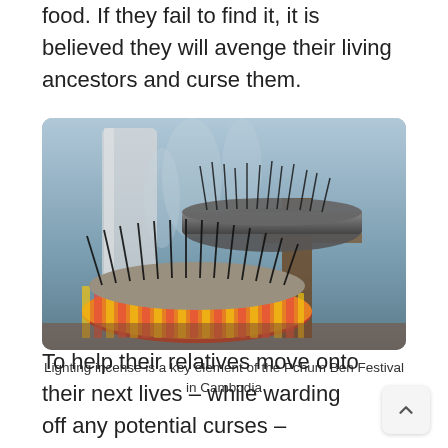food. If they fail to find it, it is believed they will avenge their living ancestors and curse them.
[Figure (photo): Two incense burner bowls filled with burning incense sticks, emitting smoke, with a wooden structure in the background. The lower bowl has a colorful red and yellow decorated rim.]
Lighting incense is a key element of the Pchum Ben Festival in Cambodia
To help their relatives move onto their next lives – while warding off any potential curses –